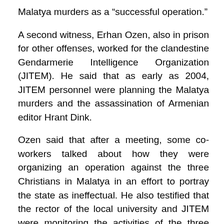Malatya murders as a “successful operation.”
A second witness, Erhan Ozen, also in prison for other offenses, worked for the clandestine Gendarmerie Intelligence Organization (JITEM). He said that as early as 2004, JITEM personnel were planning the Malatya murders and the assassination of Armenian editor Hrant Dink.
Ozen said that after a meeting, some co-workers talked about how they were organizing an operation against the three Christians in Malatya in an effort to portray the state as ineffectual. He also testified that the rector of the local university and JITEM were monitoring the activities of the three Christian men.
“He was convincing because he gave many details that